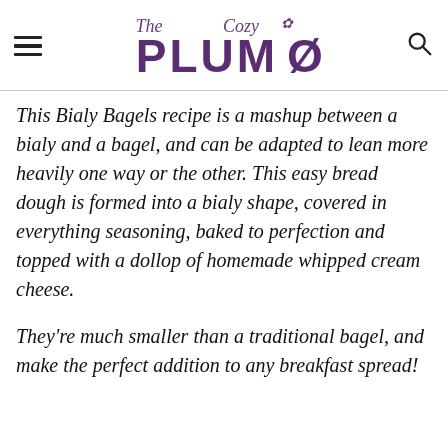The Cozy Plum
This Bialy Bagels recipe is a mashup between a bialy and a bagel, and can be adapted to lean more heavily one way or the other. This easy bread dough is formed into a bialy shape, covered in everything seasoning, baked to perfection and topped with a dollop of homemade whipped cream cheese.
They're much smaller than a traditional bagel, and make the perfect addition to any breakfast spread!